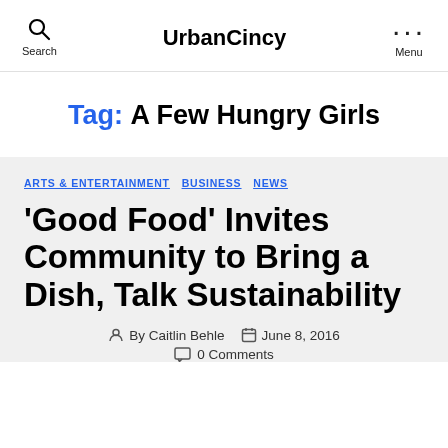UrbanCincy | Search | Menu
Tag: A Few Hungry Girls
ARTS & ENTERTAINMENT  BUSINESS  NEWS
'Good Food' Invites Community to Bring a Dish, Talk Sustainability
By Caitlin Behle   June 8, 2016   0 Comments